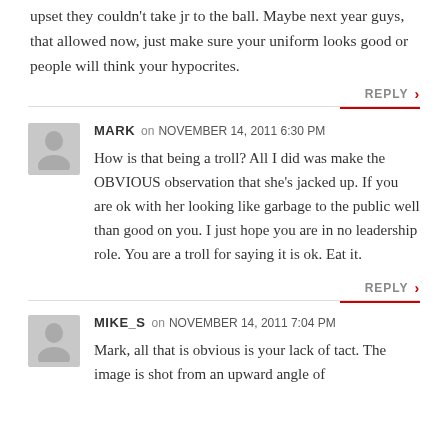upset they couldn't take jr to the ball. Maybe next year guys, that allowed now, just make sure your uniform looks good or people will think your hypocrites.
REPLY
MARK on NOVEMBER 14, 2011 6:30 PM
How is that being a troll? All I did was make the OBVIOUS observation that she's jacked up. If you are ok with her looking like garbage to the public well than good on you. I just hope you are in no leadership role. You are a troll for saying it is ok. Eat it.
REPLY
MIKE_S on NOVEMBER 14, 2011 7:04 PM
Mark, all that is obvious is your lack of tact. The image is shot from an upward angle of